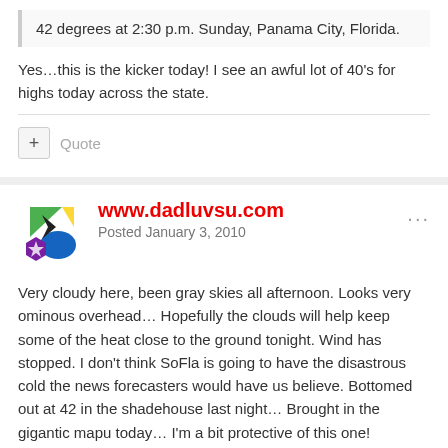42 degrees at 2:30 p.m. Sunday, Panama City, Florida.
Yes…this is the kicker today! I see an awful lot of 40's for highs today across the state.
Quote
www.dadluvsu.com
Posted January 3, 2010
Very cloudy here, been gray skies all afternoon. Looks very ominous overhead… Hopefully the clouds will help keep some of the heat close to the ground tonight. Wind has stopped. I don't think SoFla is going to have the disastrous cold the news forecasters would have us believe. Bottomed out at 42 in the shadehouse last night… Brought in the gigantic mapu today… I'm a bit protective of this one!
Here's a bit of tropical warmth for all you cold weather warriors up north…